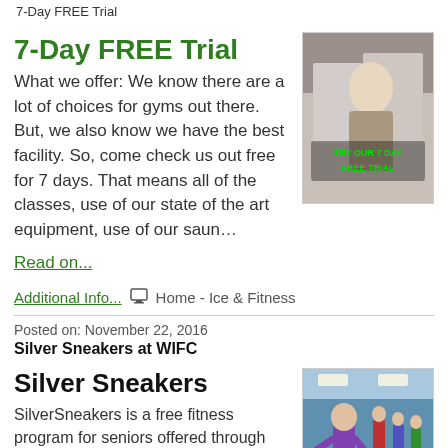7-Day FREE Trial
7-Day FREE Trial
What we offer: We know there are a lot of choices for gyms out there. But, we also know we have the best facility. So, come check us out free for 7 days. That means all of the classes, use of our state of the art equipment, use of our saun…
[Figure (photo): Promotional gym photo with green text overlay reading 'TRY OUR 7 DAY FREE TRIAL']
Read on...
Additional Info... Home - Ice & Fitness
Posted on: November 22, 2016
Silver Sneakers at WIFC
Silver Sneakers
SilverSneakers is a free fitness program for seniors offered through Tivity Health and Medicare.
[Figure (photo): Photo of seniors doing aerobic exercise class in a gym]